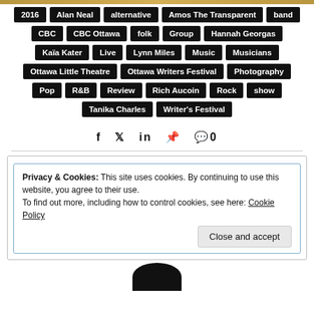2016, Alan Neal, alternative, Amos The Transparent, band, CBC, CBC Ottawa, folk, Group, Hannah Georgas, Kaïa Kater, Live, Lynn Miles, Music, Musicians, Ottawa Little Theatre, Ottawa Writers Festival, Photography, Pop, R&B, Review, Rich Aucoin, Rock, show, Tanika Charles, Writer's Festival
f  t  in  P  💬 0
Privacy & Cookies: This site uses cookies. By continuing to use this website, you agree to their use.
To find out more, including how to control cookies, see here: Cookie Policy
Close and accept